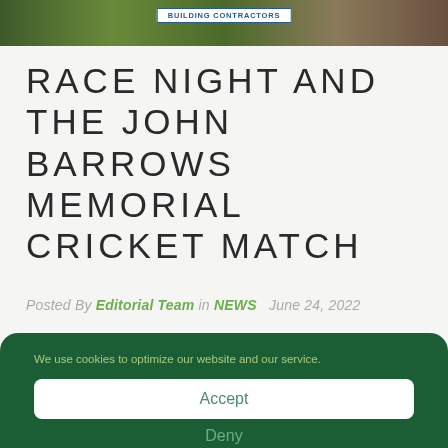[Figure (photo): Banner image showing a cricket scene with a building contractors sponsor sign in the center]
RACE NIGHT AND THE JOHN BARROWS MEMORIAL CRICKET MATCH
Posted By Editorial Team in NEWS   June 24, 2022
We use cookies to optimize our website and our service.
Accept
Deny
Privacy Policy   Privacy Policy